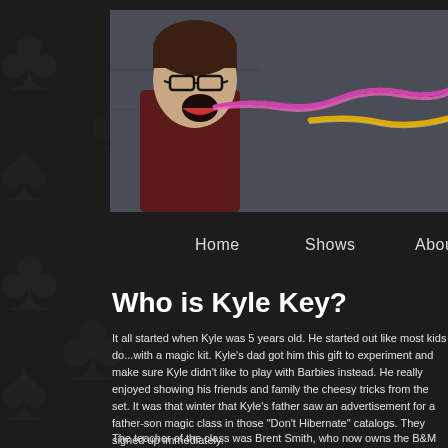[Figure (photo): A young man wearing glasses with mouth open wide, with a colorful twisted rope/string coming from his mouth, standing against a grungy wall background. Navigation website header image.]
Home    Shows    About
Who is Kyle Key?
It all started when Kyle was 5 years old. He started out like most kids do...with a magic kit. Kyle's dad got him this gift to experiment and make sure Kyle didn't like to play with Barbies instead. He really enjoyed showing his friends and family the cheesy tricks from the set. It was that winter that Kyle's father saw an advertisement for a father-son magic class in those "Don't Hibernate" catalogs. They signed up immediately.
The teacher of the class was Brent Smith, who now owns the B&M magic shop in Alberta known as The Vanishing Rabbi...